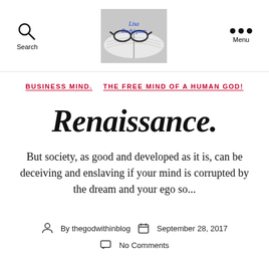Search | Lisa Rodriguez Blog Logo | Menu
BUSINESS MIND.   THE FREE MIND OF A HUMAN GOD!
Renaissance.
But society, as good and developed as it is, can be deceiving and enslaving if your mind is corrupted by the dream and your ego so...
By thegodwithinblog   September 28, 2017   No Comments